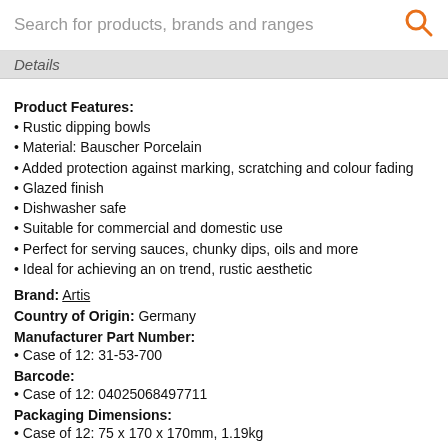Search for products, brands and ranges
Details
Product Features:
Rustic dipping bowls
Material: Bauscher Porcelain
Added protection against marking, scratching and colour fading
Glazed finish
Dishwasher safe
Suitable for commercial and domestic use
Perfect for serving sauces, chunky dips, oils and more
Ideal for achieving an on trend, rustic aesthetic
Brand: Artis
Country of Origin: Germany
Manufacturer Part Number:
Case of 12: 31-53-700
Barcode:
Case of 12: 04025068497711
Packaging Dimensions:
Case of 12: 75 x 170 x 170mm, 1.19kg